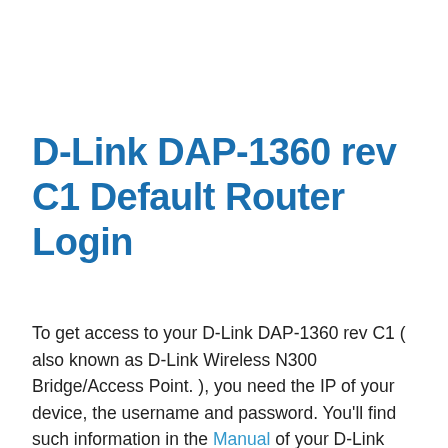D-Link DAP-1360 rev C1 Default Router Login
To get access to your D-Link DAP-1360 rev C1 ( also known as D-Link Wireless N300 Bridge/Access Point. ), you need the IP of your device, the username and password. You'll find such information in the Manual of your D-Link DAP-1360 rev C1 router. But if you do not have the manual for your router or you do not want to read the whole manual